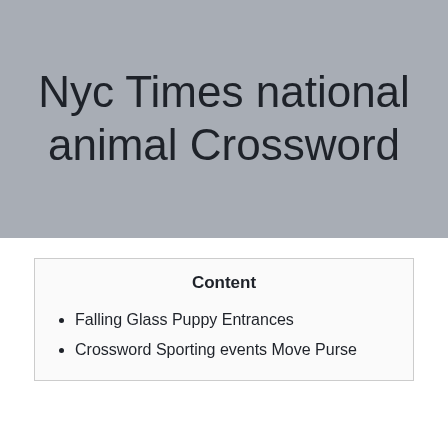Nyc Times national animal Crossword
Content
Falling Glass Puppy Entrances
Crossword Sporting events Move Purse